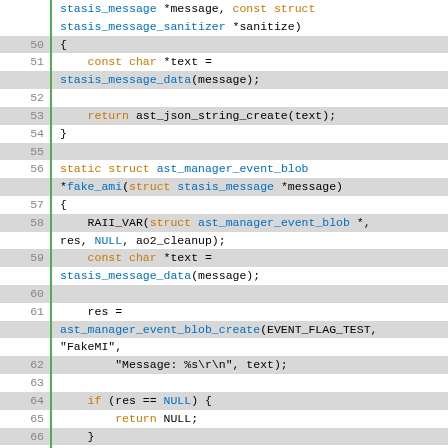[Figure (screenshot): Source code listing in C language with syntax highlighting. Lines 50-75 shown. Code defines functions for handling stasis messages including fake_json and fake_ami, and declares a stasis_message_vtable struct named fake_vtable.]